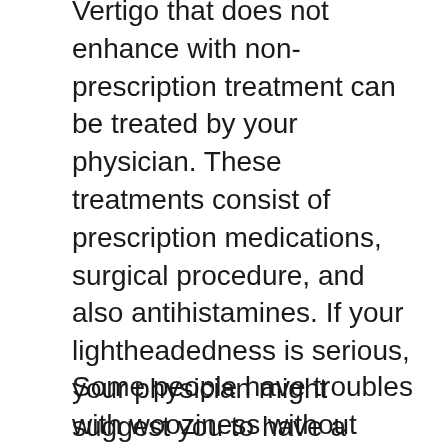Vertigo that does not enhance with non-prescription treatment can be treated by your physician. These treatments consist of prescription medications, surgical procedure, and also antihistamines. If your lightheadedness is serious, your physician might suggest you to have a dedicated echocardiography system or VASER (vesicular stentibular shutoff stimulation) procedure. This treatment utilizes a laser to open the tightened capillary that trigger the lightheadedness. The laser might also minimize the quantity of fluid buildup in your mind that creates wooziness.
Some people have troubles with wooziness without treatment. In these situations, it is essential to establish why you experience